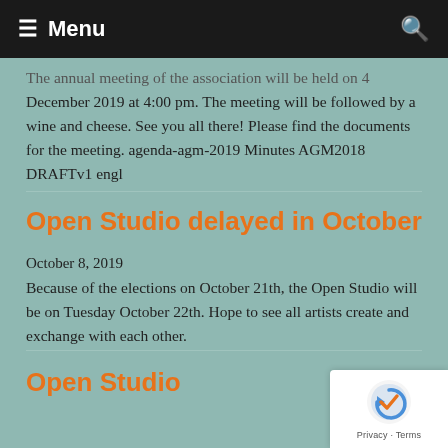≡ Menu
The annual meeting of the association will be held on 4 December 2019 at 4:00 pm. The meeting will be followed by a wine and cheese. See you all there! Please find the documents for the meeting. agenda-agm-2019 Minutes AGM2018 DRAFTv1 engl
Open Studio delayed in October
October 8, 2019
Because of the elections on October 21th, the Open Studio will be on Tuesday October 22th. Hope to see all artists create and exchange with each other.
Open Studio